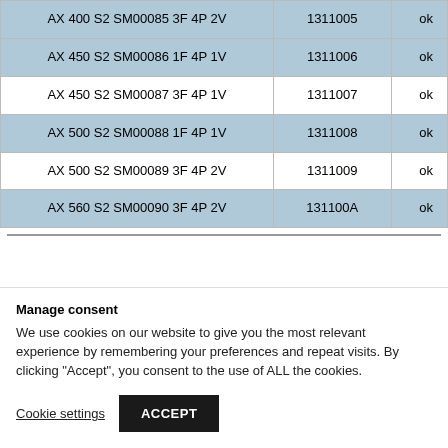|  |  |  |
| --- | --- | --- |
| AX 400 S2 SM00085 3F 4P 2V | 1311005 | ok |
| AX 450 S2 SM00086 1F 4P 1V | 1311006 | ok |
| AX 450 S2 SM00087 3F 4P 1V | 1311007 | ok |
| AX 500 S2 SM00088 1F 4P 1V | 1311008 | ok |
| AX 500 S2 SM00089 3F 4P 2V | 1311009 | ok |
| AX 560 S2 SM00090 3F 4P 2V | 131100A | ok |
Manage consent
We use cookies on our website to give you the most relevant experience by remembering your preferences and repeat visits. By clicking "Accept", you consent to the use of ALL the cookies.